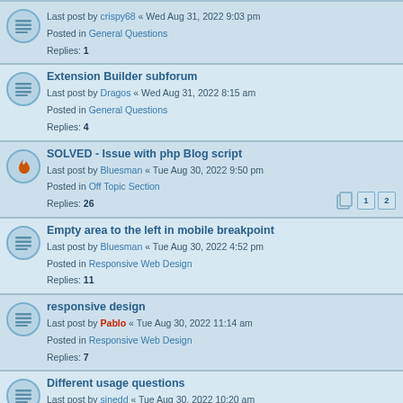Last post by crispy68 « Wed Aug 31, 2022 9:03 pm
Posted in General Questions
Replies: 1
Extension Builder subforum
Last post by Dragos « Wed Aug 31, 2022 8:15 am
Posted in General Questions
Replies: 4
SOLVED - Issue with php Blog script
Last post by Bluesman « Tue Aug 30, 2022 9:50 pm
Posted in Off Topic Section
Replies: 26
Empty area to the left in mobile breakpoint
Last post by Bluesman « Tue Aug 30, 2022 4:52 pm
Posted in Responsive Web Design
Replies: 11
responsive design
Last post by Pablo « Tue Aug 30, 2022 11:14 am
Posted in Responsive Web Design
Replies: 7
Different usage questions
Last post by sinedd « Tue Aug 30, 2022 10:20 am
Posted in General Questions
Replies: 6
form recaptcha & filling the blanks are not working
Last post by Pablo « Tue Aug 30, 2022 9:29 am
Posted in General Questions
Replies: 15
Full width but controlled height